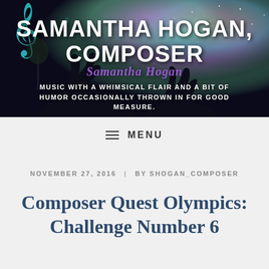[Figure (illustration): Website header banner for Samantha Hogan, Composer blog. Dark space/night sky background with colorful nebula (purple, teal, green), silhouette of wolves/animals, musical treble clef icon in teal on left. White bold text reads SAMANTHA HOGAN, COMPOSER. Purple italic overlay text reads Samantha Hogan. White uppercase tagline: MUSIC WITH A WHIMSICAL FLAIR AND A BIT OF HUMOR OCCASIONALLY THROWN IN FOR GOOD MEASURE.]
MENU
NOVEMBER 27, 2016  |  BY SHOGAN_COMPOSER
Composer Quest Olympics: Challenge Number 6